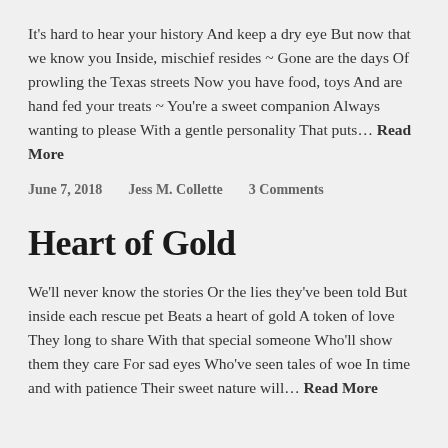It's hard to hear your history And keep a dry eye But now that we know you Inside, mischief resides ~ Gone are the days Of prowling the Texas streets Now you have food, toys And are hand fed your treats ~ You're a sweet companion Always wanting to please With a gentle personality That puts… Read More
June 7, 2018    Jess M. Collette    3 Comments
Heart of Gold
We'll never know the stories Or the lies they've been told But inside each rescue pet Beats a heart of gold A token of love They long to share With that special someone Who'll show them they care For sad eyes Who've seen tales of woe In time and with patience Their sweet nature will… Read More